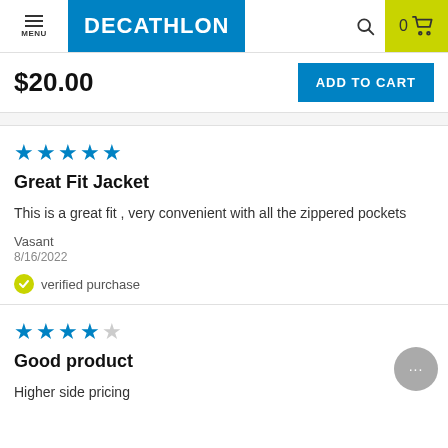MENU | DECATHLON | 0 (cart)
$20.00 | ADD TO CART
★★★★★ Great Fit Jacket
This is a great fit , very convenient with all the zippered pockets
Vasant
8/16/2022
✓ verified purchase
★★★★☆ Good product
Higher side pricing